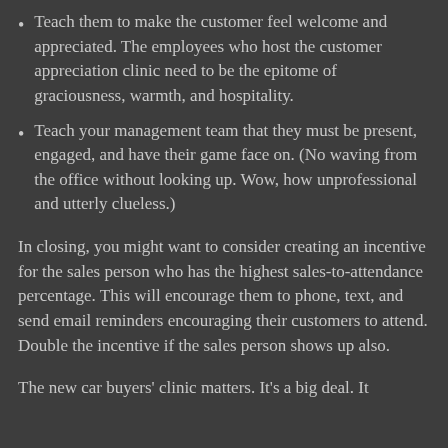Teach them to make the customer feel welcome and appreciated. The employees who host the customer appreciation clinic need to be the epitome of graciousness, warmth, and hospitality.
Teach your management team that they must be present, engaged, and have their game face on. (No waving from the office without looking up. Wow, how unprofessional and utterly clueless.)
In closing, you might want to consider creating an incentive for the sales person who has the highest sales-to-attendance percentage. This will encourage them to phone, text, and send email reminders encouraging their customers to attend. Double the incentive if the sales person shows up also.
The new car buyers' clinic matters. It's a big deal. It